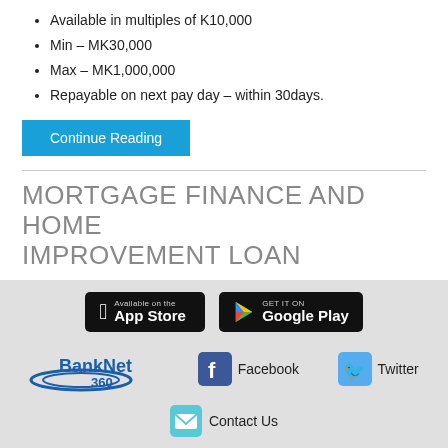Available in multiples of K10,000
Min – MK30,000
Max – MK1,000,000
Repayable on next pay day – within 30days.
Continue Reading
MORTGAGE FINANCE AND HOME IMPROVEMENT LOAN
Service/Product target (who is the user in mind)
[Figure (logo): App Store and Google Play store buttons, BankNet360 logo, Facebook, Twitter, and Contact Us links in footer]
Available on the App Store | GET IT ON Google Play | BankNet 360 | Facebook | Twitter | Contact Us